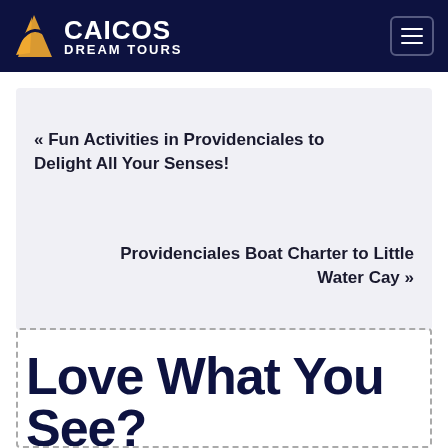CAICOS DREAM TOURS
« Fun Activities in Providenciales to Delight All Your Senses!
Providenciales Boat Charter to Little Water Cay »
BOOK NOW
Love What You See?